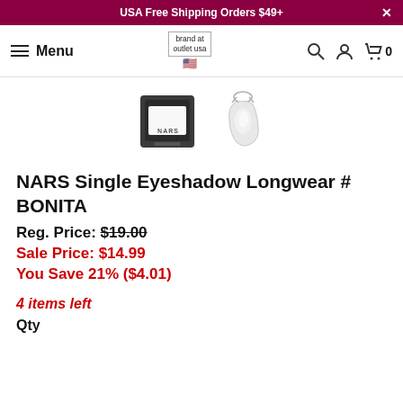USA Free Shipping Orders $49+
Menu | brand at outlet usa | search | account | cart 0
[Figure (photo): NARS Single Eyeshadow compact (black square compact with white eyeshadow pan) and a white/silver shimmer swatch next to it]
NARS Single Eyeshadow Longwear # BONITA
Reg. Price: $19.00
Sale Price: $14.99
You Save 21% ($4.01)
4 items left
Qty